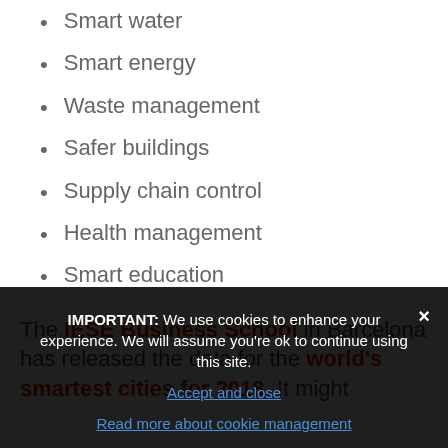Smart water
Smart energy
Waste management
Safer buildings
Supply chain control
Health management
Smart education
The IESE Business School in Barcelona has released the data for the world's smartest cities for 2018. It might
IMPORTANT: We use cookies to enhance your experience. We will assume you're ok to continue using this site.
Accept and close
Read more about cookie management